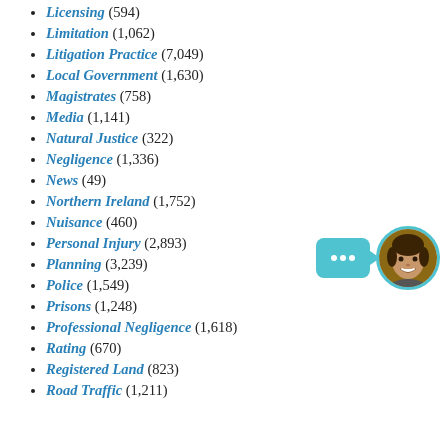Licensing (594)
Limitation (1,062)
Litigation Practice (7,049)
Local Government (1,630)
Magistrates (758)
Media (1,141)
Natural Justice (322)
Negligence (1,336)
News (49)
Northern Ireland (1,752)
Nuisance (460)
Personal Injury (2,893)
Planning (3,239)
Police (1,549)
Prisons (1,248)
Professional Negligence (1,618)
Rating (670)
Registered Land (823)
Road Traffic (1,211)
[Figure (illustration): Chat widget with teal speech bubble showing three dots and a circular avatar of a smiling woman with teal border]